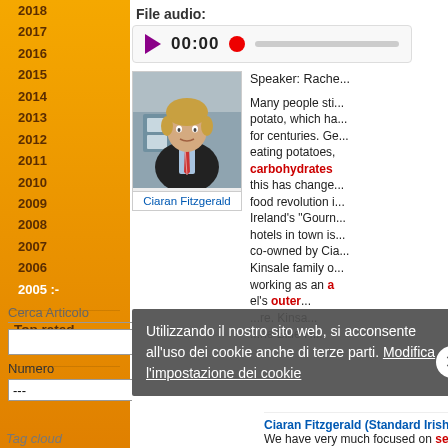2018
2017
2016
2015
2014
2013
2012
2011
2010
2009
2008
2007
2006
2005 :-
Top rated articles
Magazine Extras
Cerca Articolo
Numero
File audio:
[Figure (photo): Audio player widget showing play button, 00:00 timestamp, record dot, and progress bar]
[Figure (photo): Photo of Ciaran Fitzgerald, a man in a dark suit and red striped tie, standing outdoors]
Ciaran Fitzgerald
Speaker: Rache...
Many people sti... potato, which ha... for centuries. Ge... eating potatoes, carbohydrates... this has change... food revolution i... Ireland's "Gourn... hotels in town is... co-owned by Cia... Kinsale family o... working as an a... el's outer... ...re. Kinsa... ...ne Blue H...
Utilizzando il nostro sito web, si acconsente all'uso dei cookie anche di terze parti. Modifica l'impostazione dei cookie
Ciaran Fitzgerald (Standard Irish accent):
We have very much focused on seafood... Sea...